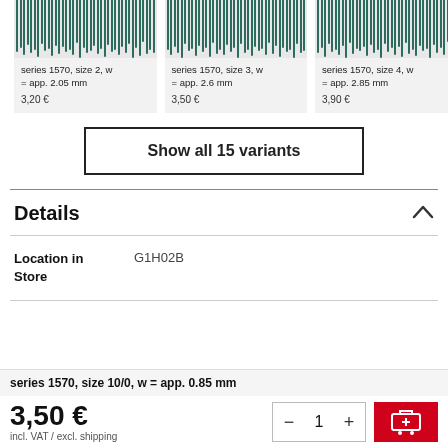[Figure (photo): Three product card images showing sewing needles/combs (series 1570) with vertical dark lines on grey background]
series 1570, size 2, w = app. 2.05 mm
3,20 €
series 1570, size 3, w = app. 2.6 mm
3,50 €
series 1570, size 4, w = app. 2.85 mm
3,90 €
Show all 15 variants
Details
| Location in Store |  |
| --- | --- |
| Location in Store | G1H02B |
series 1570, size 10/0, w = app. 0.85 mm
3,50 €
incl. VAT / excl. shipping